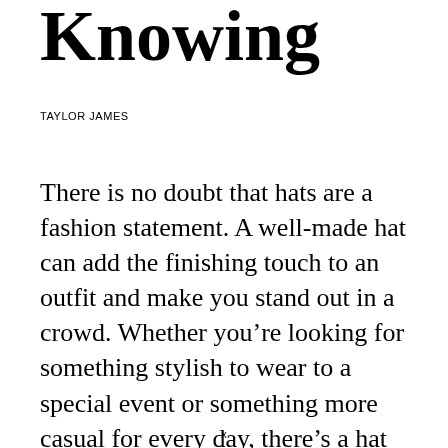Knowing
TAYLOR JAMES
There is no doubt that hats are a fashion statement. A well-made hat can add the finishing touch to an outfit and make you stand out in a crowd. Whether you’re looking for something stylish to wear to a special event or something more casual for every day, there’s a hat designer out there who can create the perfect look for you. Here are just a few of the most famous hat
x